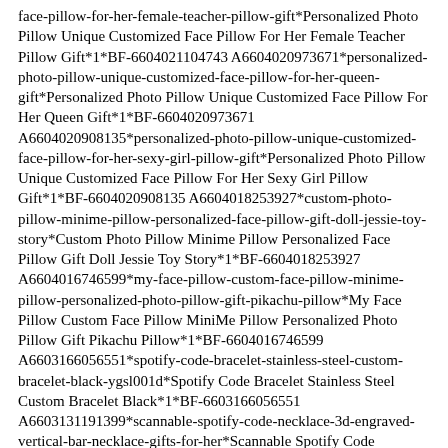face-pillow-for-her-female-teacher-pillow-gift*Personalized Photo Pillow Unique Customized Face Pillow For Her Female Teacher Pillow Gift*1*BF-6604021104743 A6604020973671*personalized-photo-pillow-unique-customized-face-pillow-for-her-queen-gift*Personalized Photo Pillow Unique Customized Face Pillow For Her Queen Gift*1*BF-6604020973671 A6604020908135*personalized-photo-pillow-unique-customized-face-pillow-for-her-sexy-girl-pillow-gift*Personalized Photo Pillow Unique Customized Face Pillow For Her Sexy Girl Pillow Gift*1*BF-6604020908135 A6604018253927*custom-photo-pillow-minime-pillow-personalized-face-pillow-gift-doll-jessie-toy-story*Custom Photo Pillow Minime Pillow Personalized Face Pillow Gift Doll Jessie Toy Story*1*BF-6604018253927 A6604016746599*my-face-pillow-custom-face-pillow-minime-pillow-personalized-photo-pillow-gift-pikachu-pillow*My Face Pillow Custom Face Pillow MiniMe Pillow Personalized Photo Pillow Gift Pikachu Pillow*1*BF-6604016746599 A6603166056551*spotify-code-bracelet-stainless-steel-custom-bracelet-black-ygsl001d*Spotify Code Bracelet Stainless Steel Custom Bracelet Black*1*BF-6603166056551 A6603131191399*scannable-spotify-code-necklace-3d-engraved-vertical-bar-necklace-gifts-for-her*Scannable Spotify Code Necklace 3D Engraved Vertical Bar Necklace Gifts for Her*1*BF-
Necklace 3D Engraved Vertical Bar Necklace Gifts for Her*1*BF-